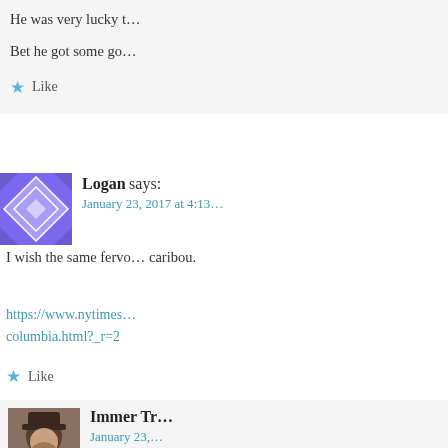He was very lucky t…
Bet he got some go…
Like
Logan says:
January 23, 2017 at 4:13…
I wish the same fervo… caribou.
https://www.nytimes.… columbia.html?_r=2
Like
Immer Tr…
January 23,…
To keep,the reply sh…